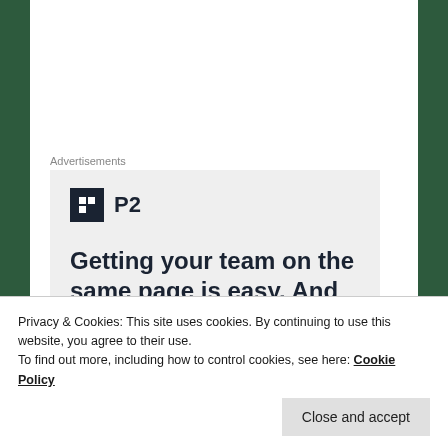Advertisements
[Figure (illustration): P2 advertisement with logo and headline: Getting your team on the same page is easy. And free.]
I stuck as close as I could to the southwest shore line, but tightly packed hull help and at one point a fallen 'driftwood'
Privacy & Cookies: This site uses cookies. By continuing to use this website, you agree to their use.
To find out more, including how to control cookies, see here: Cookie Policy
Close and accept